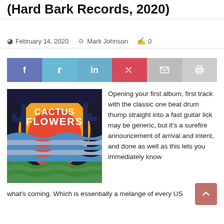(Hard Bark Records, 2020)
February 14, 2020  Mark Johnson  0
[Figure (other): Social share buttons: Facebook, Twitter, LinkedIn, Pinterest, Email, Print]
[Figure (photo): Album cover art for Cactus Flowers on Hard Bark Records, 2020. Psychedelic retro illustration with cacti, wavy desert landscape, sunset circle in orange and red, with wavy blue and green striped hills in the foreground. White decorative text reads 'Cactus Flowers'.]
Opening your first album, first track with the classic one beat drum thump straight into a fast guitar lick may be generic, but it's a surefire announcement of arrival and intent, and done as well as this lets you immediately know what's coming. Which is essentially a melange of every US